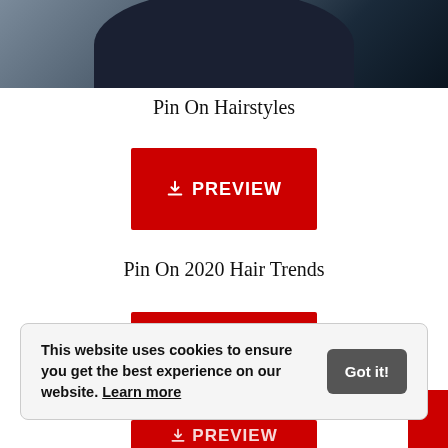[Figure (photo): Partial photo of dark navy/black hair or fabric at the top of the page, cropped]
Pin On Hairstyles
[Figure (other): Red button with download icon and text PREVIEW]
Pin On 2020 Hair Trends
[Figure (other): Red button with download icon and text PREVIEW]
This website uses cookies to ensure you get the best experience on our website. Learn more
[Figure (other): Partial red PREVIEW button at bottom, partially obscured]